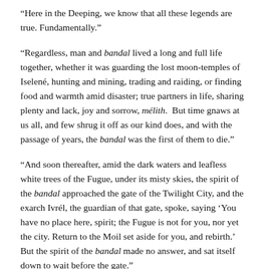“Here in the Deeping, we know that all these legends are true. Fundamentally.”
“Regardless, man and bandal lived a long and full life together, whether it was guarding the lost moon-temples of Iselené, hunting and mining, trading and raiding, or finding food and warmth amid disaster; true partners in life, sharing plenty and lack, joy and sorrow, mélith.  But time gnaws at us all, and few shrug it off as our kind does, and with the passage of years, the bandal was the first of them to die.”
“And soon thereafter, amid the dark waters and leafless white trees of the Fugue, under its misty skies, the spirit of the bandal approached the gate of the Twilight City, and the exarch Ivrél, the guardian of that gate, spoke, saying ‘You have no place here, spirit; the Fugue is not for you, nor yet the city. Return to the Moil set aside for you, and rebirth.’  But the spirit of the bandal made no answer, and sat itself down to wait before the gate.”
“And Ivrél spoke again, saying, ‘By Heaven’s law, you may not enter here.  Get you gone from this threshold!’  And the